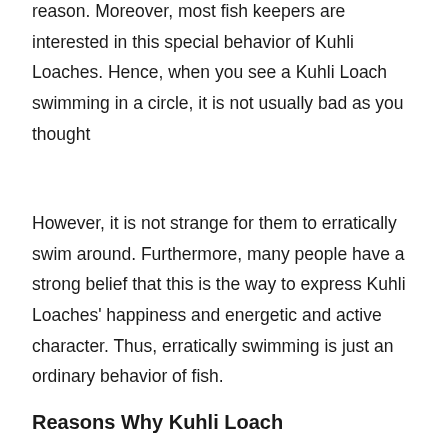reason. Moreover, most fish keepers are interested in this special behavior of Kuhli Loaches. Hence, when you see a Kuhli Loach swimming in a circle, it is not usually bad as you thought
However, it is not strange for them to erratically swim around. Furthermore, many people have a strong belief that this is the way to express Kuhli Loaches' happiness and energetic and active character. Thus, erratically swimming is just an ordinary behavior of fish.
Reasons Why Kuhli Loach